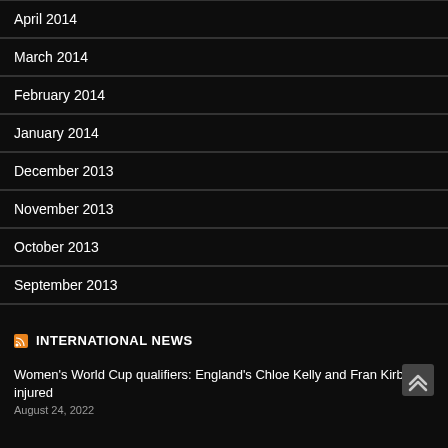April 2014
March 2014
February 2014
January 2014
December 2013
November 2013
October 2013
September 2013
INTERNATIONAL NEWS
Women's World Cup qualifiers: England's Chloe Kelly and Fran Kirby out injured
August 24, 2022